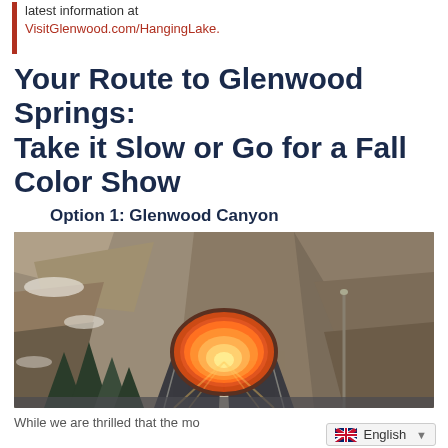latest information at VisitGlenwood.com/HangingLake.
Your Route to Glenwood Springs: Take it Slow or Go for a Fall Color Show
Option 1: Glenwood Canyon
[Figure (photo): A road leading into an illuminated orange tunnel carved through rocky canyon walls with snow-dusted trees on the left side.]
While we are thrilled that the mo
English